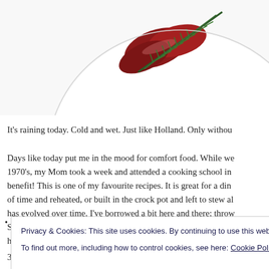[Figure (photo): Partial view of a white plate with sliced red meat (beef) garnished with rosemary sprigs, on a white background. Only the upper portion of the plate is visible.]
It's raining today. Cold and wet. Just like Holland. Only withou
Days like today put me in the mood for comfort food. While we... 1970's, my Mom took a week and attended a cooking school in... benefit! This is one of my favourite recipes. It is great for a din... of time and reheated, or built in the crock pot and left to stew al... has evolved over time. I've borrowed a bit here and there; throw... Southern French daube, for example, and added in some dried m... here are the basics for you to monkey around with. Serve with p...
Privacy & Cookies: This site uses cookies. By continuing to use this website, you agree to their use.
To find out more, including how to control cookies, see here: Cookie Policy
3-4 lbs of stew beef, cubed